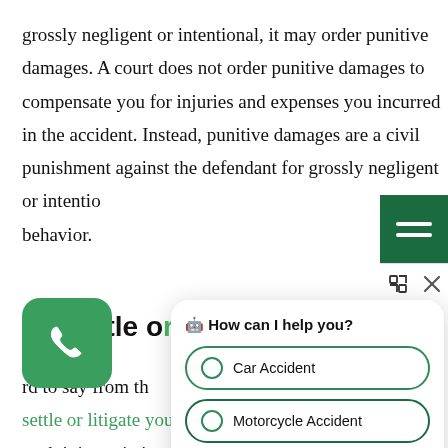grossly negligent or intentional, it may order punitive damages. A court does not order punitive damages to compensate you for injuries and expenses you incurred in the accident. Instead, punitive damages are a civil punishment against the defendant for grossly negligent or intentional behavior.
To Settle or Litigate?
rd to say from th er you will settle or litigate your most neck injury victims start with hopes of settling, and most do, some insura st won't offer a fair and reasonable settlement. If you
[Figure (other): Green rounded square phone call button with white telephone handset icon]
[Figure (other): Dark green menu/hamburger button top right, with expand and close icons below]
[Figure (other): Chatbot popup with header 'How can I help you?' and radio options: Car Accident, Motorcycle Accident, Truck Accident]